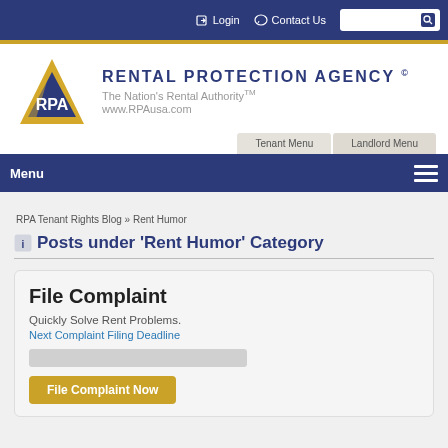Login  Contact Us
[Figure (logo): Rental Protection Agency logo with RPA triangle graphic and text: Rental Protection Agency, The Nation's Rental Authority, www.RPAusa.com]
Tenant Menu   Landlord Menu
Menu
RPA Tenant Rights Blog » Rent Humor
Posts under 'Rent Humor' Category
File Complaint
Quickly Solve Rent Problems.
Next Complaint Filing Deadline
File Complaint Now